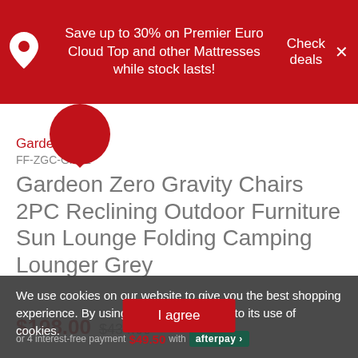Save up to 30% on Premier Euro Cloud Top and other Mattresses while stock lasts! Check deals ×
Gardeon
FF-ZGC-GRX2
Gardeon Zero Gravity Chairs 2PC Reclining Outdoor Furniture Sun Lounge Folding Camping Lounger Grey
We use cookies on our website to give you the best shopping experience. By using this site, you agree to its use of cookies.
$198.00 $434.00
or 4 interest-free payments of $49.50 with afterpay